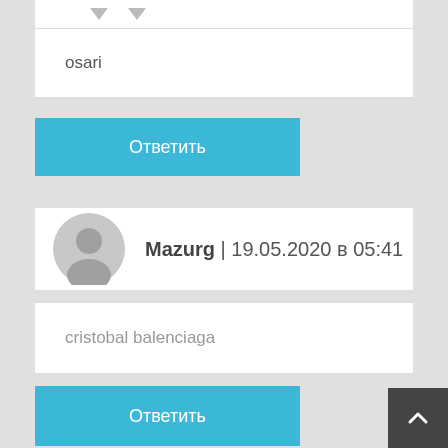osari
Ответить
Mazurg | 19.05.2020 в 05:41
cristobal balenciaga
Ответить